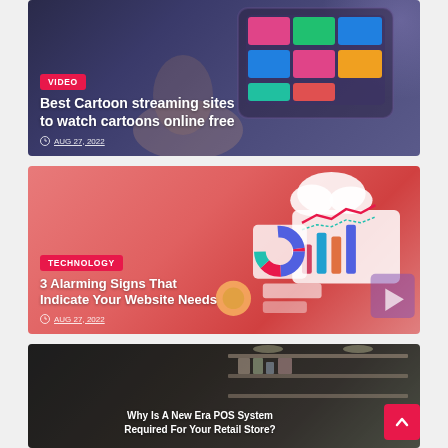[Figure (photo): Card 1: Person holding a tablet showing cartoon streaming content, dark blue overlay, badge VIDEO, title 'Best Cartoon streaming sites to watch cartoons online free', date AUG 27, 2022]
[Figure (photo): Card 2: Pink/coral background with 3D technology icons (charts, cloud, analytics), badge TECHNOLOGY, title '3 Alarming Signs That Indicate Your Website Needs', date AUG 27, 2022]
[Figure (photo): Card 3: Dark retail store background, text overlay 'Why Is A New Era POS System Required For Your Retail Store?']